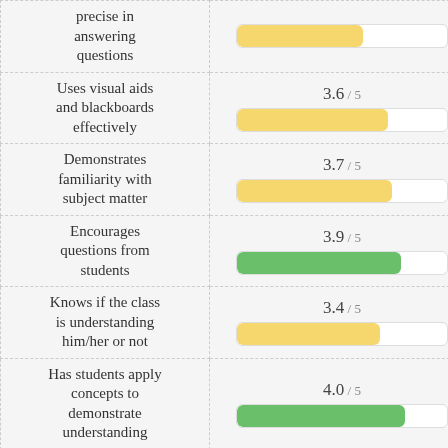| Criterion | Score |
| --- | --- |
| precise in answering questions | ~3.5 / 5 |
| Uses visual aids and blackboards effectively | 3.6 / 5 |
| Demonstrates familiarity with subject matter | 3.7 / 5 |
| Encourages questions from students | 3.9 / 5 |
| Knows if the class is understanding him/her or not | 3.4 / 5 |
| Has students apply concepts to demonstrate understanding | 4.0 / 5 |
| Has genuine interest in students | 4.0 / 5 |
| Gives personal help | 3.8 / 5 |